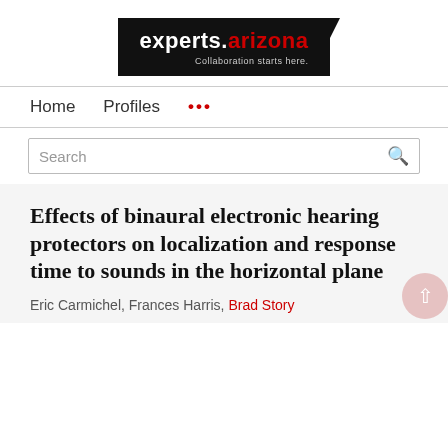[Figure (logo): experts.arizona logo — black background with white 'experts.' and red 'arizona' text, tagline 'Collaboration starts here.']
Home   Profiles   ...
Search
Effects of binaural electronic hearing protectors on localization and response time to sounds in the horizontal plane
Eric Carmichel, Frances Harris, Brad Story